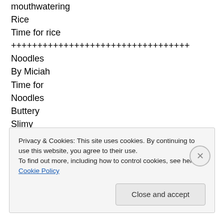mouthwatering
Rice
Time for rice
++++++++++++++++++++++++++++++++++
Noodles
By Miciah
Time for
Noodles
Buttery
Slimy
Slippery
Noodles
Crumbly
Yummy
Privacy & Cookies: This site uses cookies. By continuing to use this website, you agree to their use.
To find out more, including how to control cookies, see here: Cookie Policy